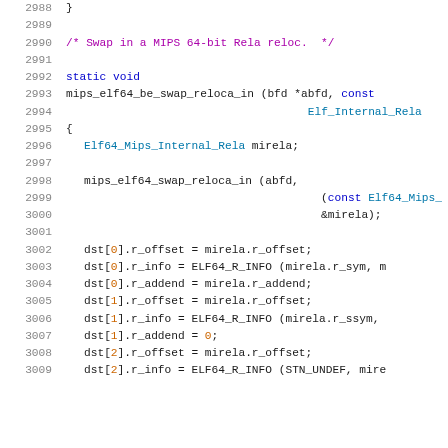Source code listing, lines 2988-3009, C code for mips_elf64_be_swap_reloca_in function